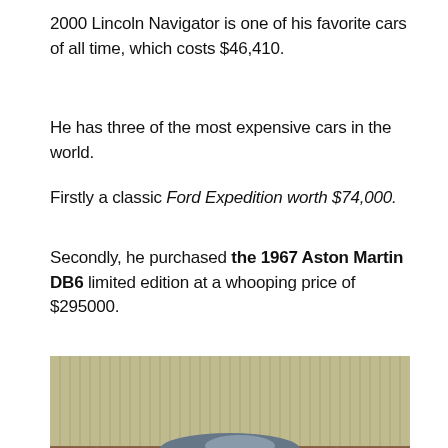2000 Lincoln Navigator is one of his favorite cars of all time, which costs $46,410.
He has three of the most expensive cars in the world.
Firstly a classic Ford Expedition worth $74,000.
Secondly, he purchased the 1967 Aston Martin DB6 limited edition at a whooping price of $295000.
[Figure (photo): Photograph of a classic Aston Martin DB6 parked in front of a building with vertical panel siding above and brick wall below.]